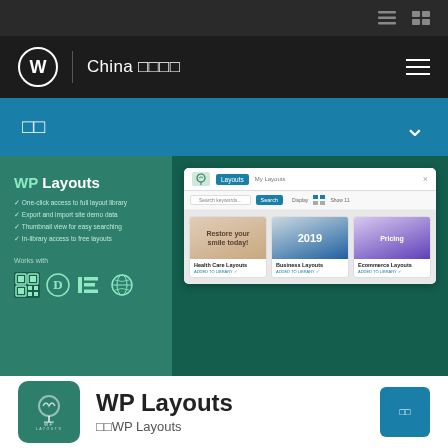China □□□□
□□
[Figure (screenshot): WP Layouts plugin page screenshot showing layout library with Health Care Layouts, Business Layouts, and Ecommerce Layouts. Left panel lists features: One-click access to full layout library, Export and import site demo data, Thumbnail view for easy searching, In-library access to free layouts. Works with icons shown.]
WP Layouts
□□WP Layouts